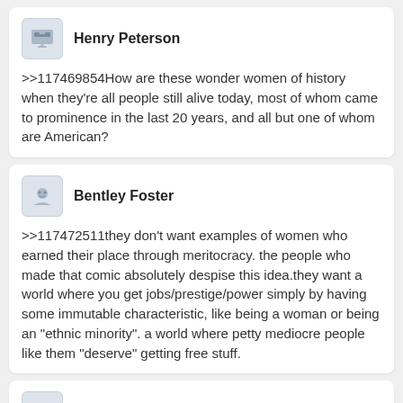Henry Peterson
>>117469854How are these wonder women of history when they're all people still alive today, most of whom came to prominence in the last 20 years, and all but one of whom are American?
Bentley Foster
>>117472511they don't want examples of women who earned their place through meritocracy. the people who made that comic absolutely despise this idea.they want a world where you get jobs/prestige/power simply by having some immutable characteristic, like being a woman or being an "ethnic minority". a world where petty mediocre people like them "deserve" getting free stuff.
Blake Davis
>>117469888No one in the US wants to tackle the